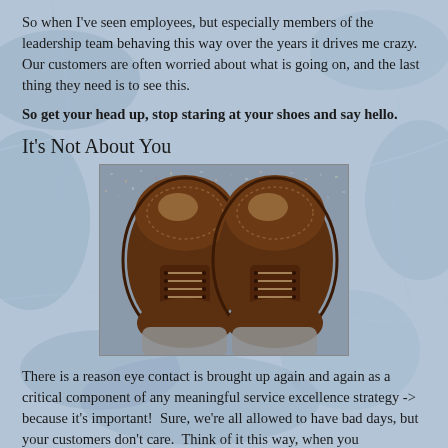So when I've seen employees, but especially members of the leadership team behaving this way over the years it drives me crazy.  Our customers are often worried about what is going on, and the last thing they need is to see this.
So get your head up, stop staring at your shoes and say hello.
It's Not About You
[Figure (photo): Overhead view of two brown leather wingtip brogue shoes on a speckled blue/grey carpet, with grey trouser legs visible at the bottom.]
There is a reason eye contact is brought up again and again as a critical component of any meaningful service excellence strategy -> because it's important!  Sure, we're all allowed to have bad days, but your customers don't care.  Think of it this way, when you